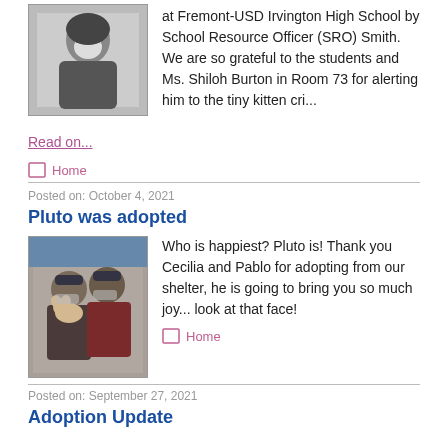[Figure (photo): Person holding a kitten, top-left thumbnail image]
at Fremont-USD Irvington High School by School Resource Officer (SRO) Smith. We are so grateful to the students and Ms. Shiloh Burton in Room 73 for alerting him to the tiny kitten cri...
Read on...
Home
Posted on: October 4, 2021
Pluto was adopted
[Figure (photo): Two people wearing masks, one holding a dog, adoption photo]
Who is happiest? Pluto is! Thank you Cecilia and Pablo for adopting from our shelter, he is going to bring you so much joy... look at that face!
Home
Posted on: September 27, 2021
Adoption Update